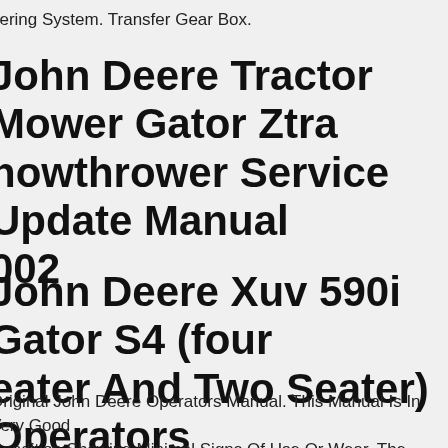eering System. Transfer Gear Box.
John Deere Tractor Mower Gator Ztrak Snowthrower Service Update Manual 2002
John Deere Xuv 590i Gator S4 (four Seater And Two Seater) Operators Manual
Original John Deere Operators Manual. This Manual Is In Very Good Condition Showing Minimal Signs Of Use Or Wear. The Pages Are In Excellent Shape. Manual Is Complete With No Missing Pages!